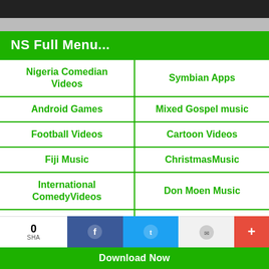NS Full Menu...
Nigeria Comedian Videos
Symbian Apps
Android Games
Mixed Gospel music
Football Videos
Cartoon Videos
Fiji Music
ChristmasMusic
International ComedyVideos
Don Moen Music
SymbianGames
Tope Alabi Music
Download Now